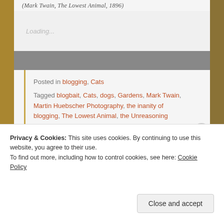(Mark Twain, The Lowest Animal, 1896)
Loading...
Posted in blogging, Cats
Tagged blogbait, Cats, dogs, Gardens, Mark Twain, Martin Huebscher Photography, the inanity of blogging, The Lowest Animal, the Unreasoning Animal
Privacy & Cookies: This site uses cookies. By continuing to use this website, you agree to their use.
To find out more, including how to control cookies, see here: Cookie Policy
Close and accept